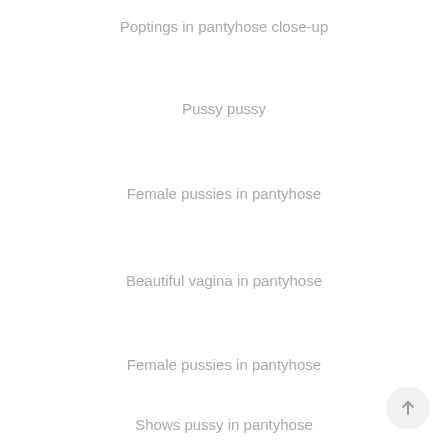Poptings in pantyhose close-up
Pussy pussy
Female pussies in pantyhose
Beautiful vagina in pantyhose
Female pussies in pantyhose
Shows pussy in pantyhose